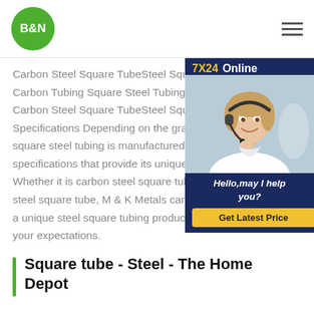B&N (logo) | hamburger menu
Carbon Steel Square TubeSteel Square Carbon Tubing Square Steel Tubing Bu Carbon Steel Square TubeSteel Square Specifications Depending on the grade square steel tubing is manufactured to specifications that provide its unique ch Whether it is carbon steel square tubin steel square tube, M & K Metals can provide you with a unique steel square tubing product that will exceed your expectations.
[Figure (photo): Customer service agent chat widget with '7X24 Online' header, photo of smiling woman with headset, 'Hello, may I help you?' text in italic, and yellow 'Get Latest Price' button on dark navy background.]
Square tube - Steel - The Home Depot